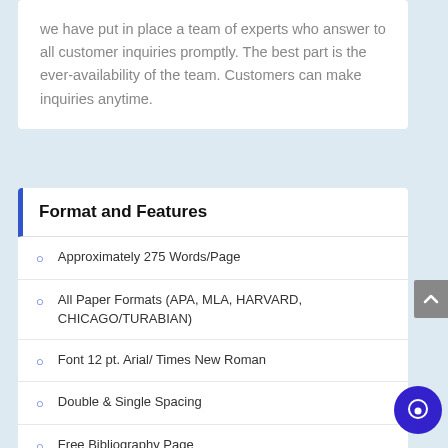we have put in place a team of experts who answer to all customer inquiries promptly. The best part is the ever-availability of the team. Customers can make inquiries anytime.
Format and Features
Approximately 275 Words/Page
All Paper Formats (APA, MLA, HARVARD, CHICAGO/TURABIAN)
Font 12 pt. Arial/ Times New Roman
Double & Single Spacing
Free Bibliography Page
Free Title Page